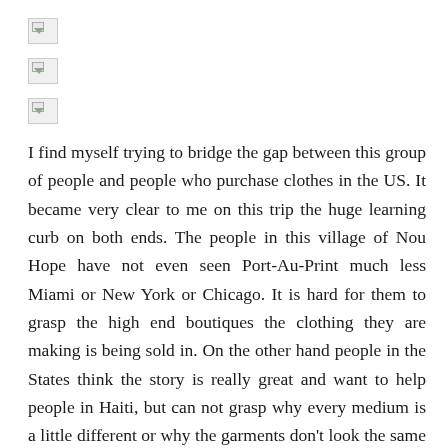[Figure (other): Broken image placeholder 1]
[Figure (other): Broken image placeholder 2]
[Figure (other): Broken image placeholder 3]
I find myself trying to bridge the gap between this group of people and people who purchase clothes in the US.  It became very clear to me on this trip the huge learning curb on both ends.  The people in this village of Nou Hope have not even seen Port-Au-Print much less Miami or New York or Chicago.  It is hard for them to grasp the high end boutiques the clothing they are making is being sold in.  On the other hand people in the States think the story is really great and want to help people in Haiti, but can not grasp why every medium is a little different or why the garments don't look the same as the factory produced clothes they are used to.  Until you have slept in their dirt floor house or until they have shopped in the US